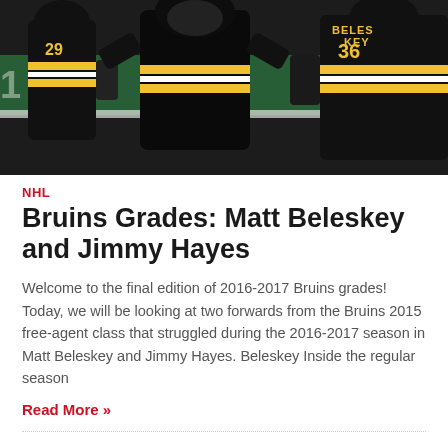[Figure (photo): Boston Bruins hockey players in black and gold jerseys celebrating on ice, including player #36 Beleskey]
NHL
Bruins Grades: Matt Beleskey and Jimmy Hayes
Welcome to the final edition of 2016-2017 Bruins grades! Today, we will be looking at two forwards from the Bruins 2015 free-agent class that struggled during the 2016-2017 season in Matt Beleskey and Jimmy Hayes. Beleskey  Inside the regular season
Read More »